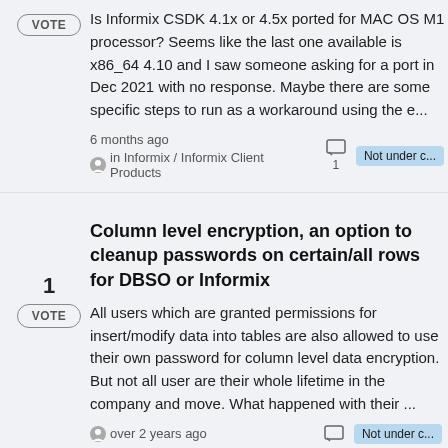Is Informix CSDK 4.1x or 4.5x ported for MAC OS M1 processor? Seems like the last one available is x86_64 4.10 and I saw someone asking for a port in Dec 2021 with no response. Maybe there are some specific steps to run as a workaround using the e...
6 months ago in Informix / Informix Client Products
1
Not under c...
Column level encryption, an option to cleanup passwords on certain/all rows for DBSO or Informix
All users which are granted permissions for insert/modify data into tables are also allowed to use their own password for column level data encryption. But not all user are their whole lifetime in the company and move. What happened with their ...
over 2 years ago
Not under c...